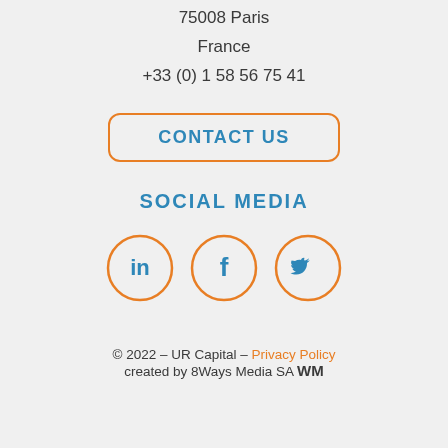75008 Paris
France
+33 (0) 1 58 56 75 41
[Figure (other): Orange rounded rectangle button with blue text reading CONTACT US]
SOCIAL MEDIA
[Figure (other): Three orange circle icons for LinkedIn, Facebook, and Twitter social media links]
© 2022 – UR Capital – Privacy Policy
created by 8Ways Media SA WM